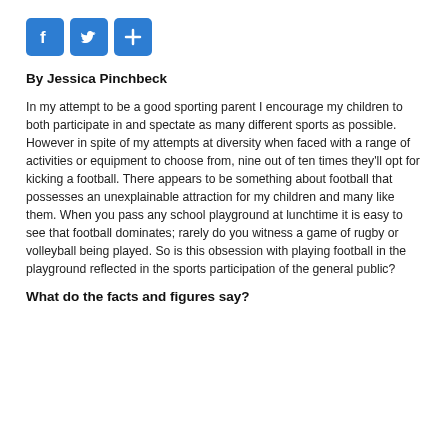[Figure (other): Three social sharing icons: Facebook (f), Twitter (bird), and a plus/share button, all in blue rounded square boxes]
By Jessica Pinchbeck
In my attempt to be a good sporting parent I encourage my children to both participate in and spectate as many different sports as possible. However in spite of my attempts at diversity when faced with a range of activities or equipment to choose from, nine out of ten times they'll opt for kicking a football. There appears to be something about football that possesses an unexplainable attraction for my children and many like them. When you pass any school playground at lunchtime it is easy to see that football dominates; rarely do you witness a game of rugby or volleyball being played. So is this obsession with playing football in the playground reflected in the sports participation of the general public?
What do the facts and figures say?